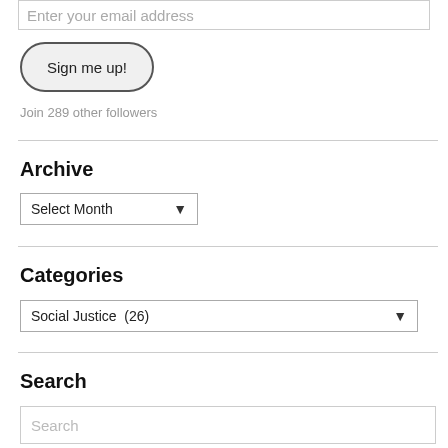Enter your email address
Sign me up!
Join 289 other followers
Archive
Select Month
Categories
Social Justice  (26)
Search
Search